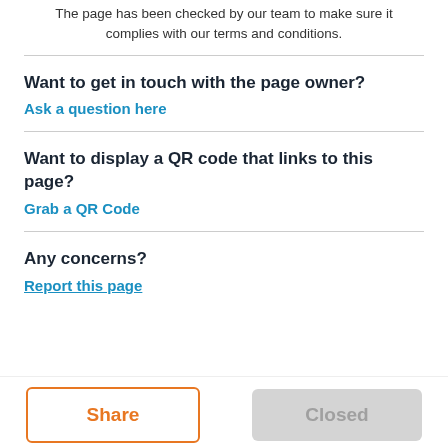The page has been checked by our team to make sure it complies with our terms and conditions.
Want to get in touch with the page owner?
Ask a question here
Want to display a QR code that links to this page?
Grab a QR Code
Any concerns?
Report this page
Share
Closed